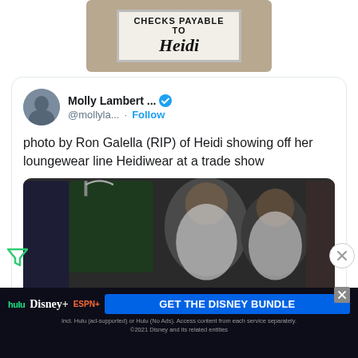[Figure (photo): Sign with text CHECKS PAYABLE TO Heidi in cursive, partial view at top of page]
Molly Lambert ... @mollyla... · Follow
photo by Ron Galella (RIP) of Heidi showing off her loungewear line Heidiwear at a trade show
[Figure (photo): Photo of Heidi and another woman at a trade show, with green velvet loungewear on a hanger in foreground]
[Figure (infographic): Disney Bundle advertisement banner: hulu Disney+ ESPN+ GET THE DISNEY BUNDLE. Incl. Hulu (ad-supported) or Hulu (No Ads). Access content from each service separately. ©2021 Disney and its related entities]